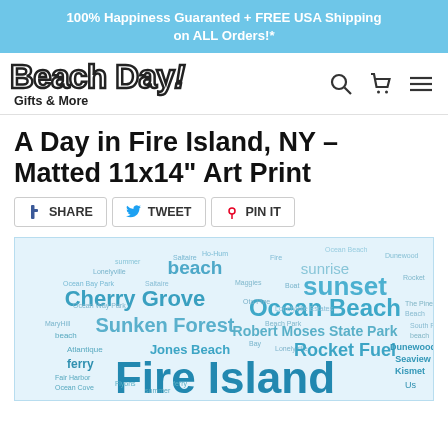100% Happiness Guaranted + FREE USA Shipping on ALL Orders!*
[Figure (logo): Beach Day! Gifts & More logo with outlined bold text and navigation icons (search, cart, menu)]
A Day in Fire Island, NY - Matted 11x14" Art Print
SHARE  TWEET  PIN IT
[Figure (illustration): Word cloud art print featuring Fire Island NY related words such as beach, Cherry Grove, Sunken Forest, Ocean Beach, Robert Moses State Park, Jones Beach, Rocket Fuel, Dunewood, Seaview, Kismet, sunrise, sunset, ferry, summer, Saltaire, and more in various shades of blue on a light blue background.]